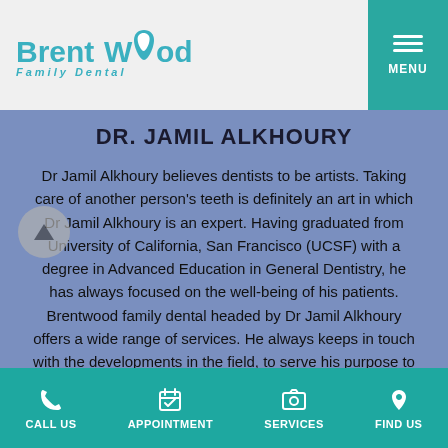Brentwood Family Dental — MENU
DR. JAMIL ALKHOURY
Dr Jamil Alkhoury believes dentists to be artists. Taking care of another person's teeth is definitely an art in which Dr Jamil Alkhoury is an expert. Having graduated from University of California, San Francisco (UCSF) with a degree in Advanced Education in General Dentistry, he has always focused on the well-being of his patients. Brentwood family dental headed by Dr Jamil Alkhoury offers a wide range of services. He always keeps in touch with the developments in the field, to serve his purpose to the best of his abilities.
CALL US   APPOINTMENT   SERVICES   FIND US